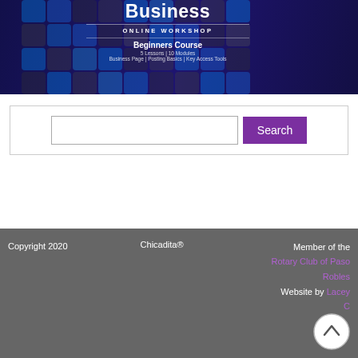[Figure (illustration): Workshop banner for Facebook for Business Online Workshop, Beginners Course - 5 Lessons, 10 Modules, Business Page, Posting Basics, Key Access Tools. Dark blue/purple background with social media icons overlay.]
[Figure (screenshot): Search bar with text input field and purple Search button]
Copyright 2020   Chicadita®   Member of the Rotary Club of Paso Robles   Website by Lacey C
[Figure (other): White circular scroll-to-top button with upward chevron arrow]